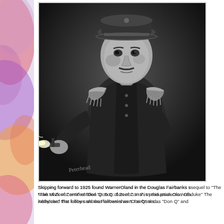[Figure (photo): Black and white portrait photograph of Warner Oland in military uniform with epaulettes, holding a pistol with smoke coming from the barrel, wearing a military cap. A signature appears in the lower left of the photo.]
Skipping forward to 1925 found WarnerOland in the Douglas Fairbanks sequel to "The Mark of Zorro" entitled "Don Q: Son of Zorro". In this production Ola... Archduke" The lobby card that follows shows Fairbanks as "Don Q" and...